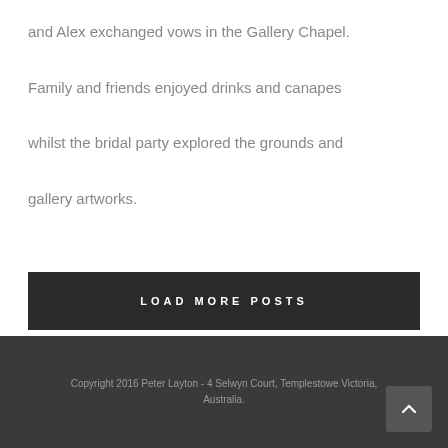and Alex exchanged vows in the Gallery Chapel. Family and friends enjoyed drinks and canapes whilst the bridal party explored the grounds and gallery artworks.
LOAD MORE POSTS
Copyright 2016 Peter Layton - 4 Selwyn Court, Templestowe Victoria, Australia.